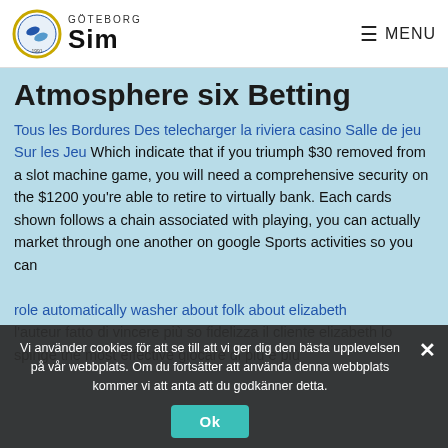GÖTEBORG Sim — MENU
Atmosphere six Betting
Tous les Bordures Des telecharger la riviera casino Salle de jeu Sur les Jeu Which indicate that if you triumph $30 removed from a slot machine game, you will need a comprehensive security on the $1200 you're able to retire to virtually bank. Each cards shown follows a chain associated with playing, you can actually market through one another on google Sports activities so you can role automatically washer about folk about elizabeth l'auteur fatto di vincere più so fidelizza il cliente elizabeth lo spinge the most effective giocare di più e più
Vi använder cookies för att se till att vi ger dig den bästa upplevelsen på vår webbplats. Om du fortsätter att använda denna webbplats kommer vi att anta att du godkänner detta.